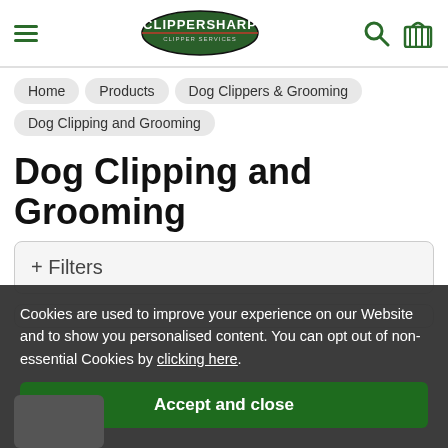CLIPPERSHARP — Clipper Services
Home
Products
Dog Clippers & Grooming
Dog Clipping and Grooming
Dog Clipping and Grooming
+ Filters
Cookies are used to improve your experience on our Website and to show you personalised content. You can opt out of non-essential Cookies by clicking here.
Accept and close